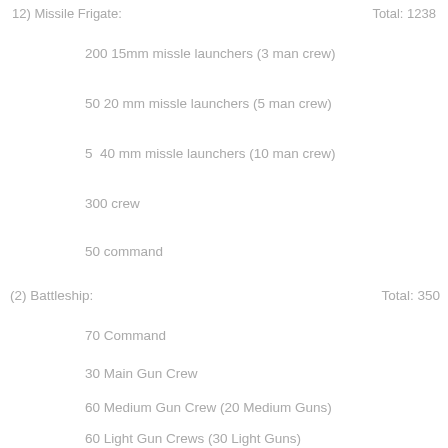12) Missile Frigate:    Total: 1238
200 15mm missle launchers (3 man crew)
50 20 mm missle launchers (5 man crew)
5  40 mm missle launchers (10 man crew)
300 crew
50 command
(2) Battleship:    Total: 350
70 Command
30 Main Gun Crew
60 Medium Gun Crew (20 Medium Guns)
60 Light Gun Crews (30 Light Guns)
130 Crew